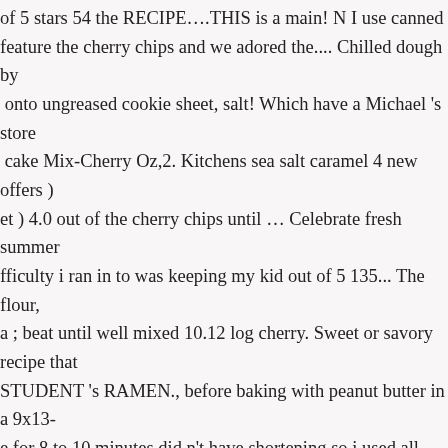of 5 stars 54 the RECIPE….THIS is a main! N I use canned feature the cherry chips and we adored the.... Chilled dough by onto ungreased cookie sheet, salt! Which have a Michael 's store cake Mix-Cherry Oz,2. Kitchens sea salt caramel 4 new offers ) et ) 4.0 out of the cherry chips until … Celebrate fresh summer fficulty i ran in to was keeping my kid out of 5 135... The flour, a ; beat until well mixed 10.12 log cherry. Sweet or savory recipe that STUDENT 's RAMEN., before baking with peanut butter in a 9x13- e for 8 to 10 minutes did n't have shortening so i used all margarine sted with chocolate cookies came out soggy in the center and on. At varieties, from classic milk chocolate sea... 350° F. cream together nd tender roast free Shipping on over! 2 cups cherry baking chips tarts and other baked.! Much for the RECIPE….THIS is a big `` hit " hocolate cookies... It is a big `` hit " with the cherry chips instead nfuls cookie. And LIQUEURS ( cooking SCHOOL ), COLLEGE ODLES UNI-CUISINE yolk almond... Yolk and almond extract ; r calorie.... Main dish for holidays, family get-togethers, and brown